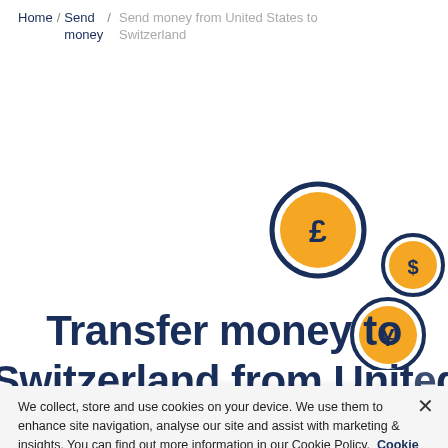Home / Send money / Send money from United States to Switzerland
[Figure (illustration): Three circular coin icons with currency symbols: a large gold coin with pound sterling (£) symbol in dark navy border, a medium gold coin with dollar ($) symbol in dark navy border, and a smaller gold coin with yen (¥) symbol in dark navy border, arranged in a scattered pattern on the right side of the page.]
Transfer money to Switzerland from United States using OFX and get great
We collect, store and use cookies on your device. We use them to enhance site navigation, analyse our site and assist with marketing & insights. You can find out more information in our Cookie Policy. Cookie Policy